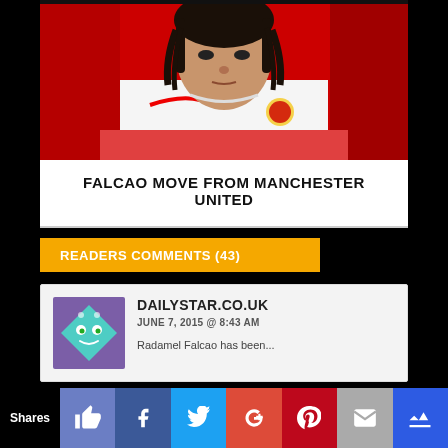[Figure (photo): Radamel Falcao in Manchester United white training top, sitting in red seat, looking forward]
FALCAO MOVE FROM MANCHESTER UNITED
READERS COMMENTS (43)
[Figure (logo): Diamond-shaped smiley face avatar logo with teal/green color and purple background, from dailystar.co.uk]
DAILYSTAR.CO.UK
JUNE 7, 2015 @ 8:43 AM